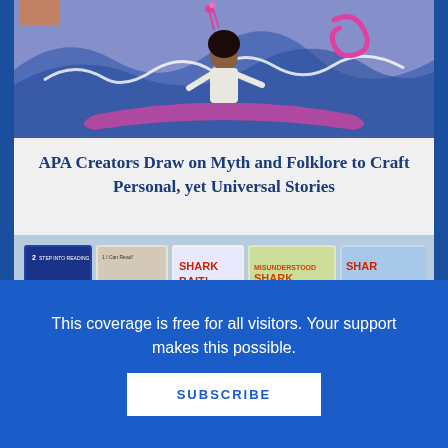[Figure (illustration): Illustrated book cover featuring an Asian girl in white outfit surrounded by large blue and purple waves with pink accents and decorative elements]
APA Creators Draw on Myth and Folklore to Craft Personal, yet Universal Stories
[Figure (photo): Photo of multiple children's shark-themed book covers: Wild Sharks!, Clark the Shark, Shark Bait!, Misunderstood Shark, and another shark book]
This coverage is free for all visitors. Your support makes this possible.
SUBSCRIBE